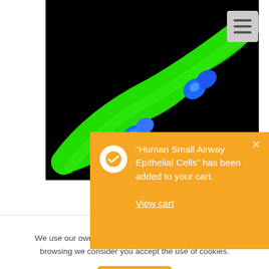[Figure (photo): Fluorescence microscopy image of human small airway epithelial cells. Green fluorescent elongated cell body with blue DAPI-stained nuclei on black background.]
“Human Small Airway Epithelial Cells” has been added to your cart. View cart
Hu
We use our own and third party cookies. If you continue browsing we consider you accept the use of cookies.
Accept